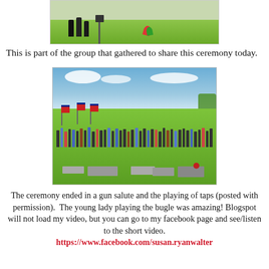[Figure (photo): Partial photo of an outdoor ceremony on green grass with figures standing near a flag or decorative item]
This is part of the group that gathered to share this ceremony today.
[Figure (photo): Cemetery ceremony photo showing a large group of people standing on green grass under a cloudy blue sky, with American flags and grave markers visible]
The ceremony ended in a gun salute and the playing of taps (posted with permission).  The young lady playing the bugle was amazing!  Blogspot will not load my video, but you can go to my facebook page and see/listen to the short video.
https://www.facebook.com/susan.ryanwalter